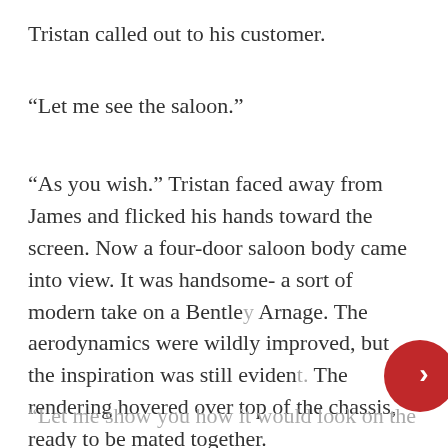Tristan called out to his customer.
“Let me see the saloon.”
“As you wish.” Tristan faced away from James and flicked his hands toward the screen. Now a four-door saloon body came into view. It was handsome- a sort of modern take on a Bentley Arnage. The aerodynamics were wildly improved, but the inspiration was still evident. The rendering hovered over top of the chassis, ready to be mated together.
“Let me show you how it would look on the chassis.”